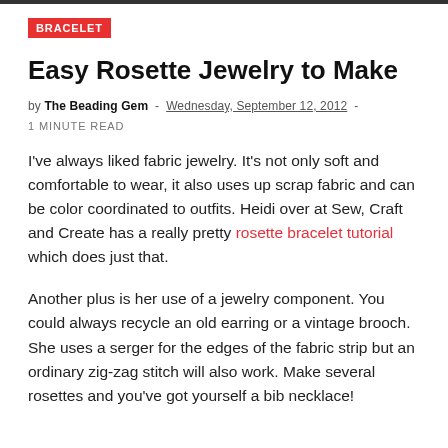BRACELET
Easy Rosette Jewelry to Make
by The Beading Gem - Wednesday, September 12, 2012 - 1 MINUTE READ
I've always liked fabric jewelry. It's not only soft and comfortable to wear, it also uses up scrap fabric and can be color coordinated to outfits. Heidi over at Sew, Craft and Create has a really pretty rosette bracelet tutorial which does just that.
Another plus is her use of a jewelry component. You could always recycle an old earring or a vintage brooch. She uses a serger for the edges of the fabric strip but an ordinary zig-zag stitch will also work. Make several rosettes and you've got yourself a bib necklace!